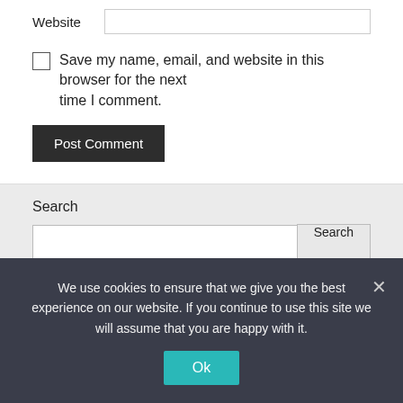Website
Save my name, email, and website in this browser for the next time I comment.
Post Comment
Search
Search
Recent Posts
We use cookies to ensure that we give you the best experience on our website. If you continue to use this site we will assume that you are happy with it.
Ok